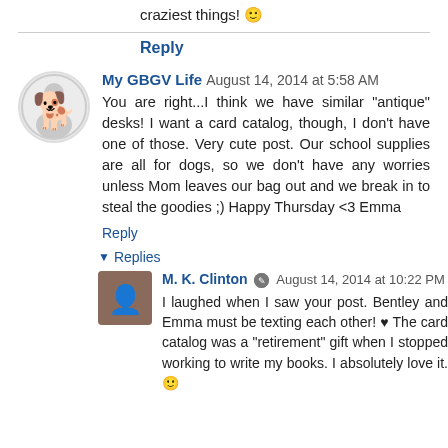craziest things! 😊
Reply
My GBGV Life  August 14, 2014 at 5:58 AM
You are right...I think we have similar "antique" desks! I want a card catalog, though, I don't have one of those. Very cute post. Our school supplies are all for dogs, so we don't have any worries unless Mom leaves our bag out and we break in to steal the goodies ;) Happy Thursday <3 Emma
Reply
▾ Replies
M. K. Clinton  August 14, 2014 at 10:22 PM
I laughed when I saw your post. Bentley and Emma must be texting each other! ♥ The card catalog was a "retirement" gift when I stopped working to write my books. I absolutely love it. 😊